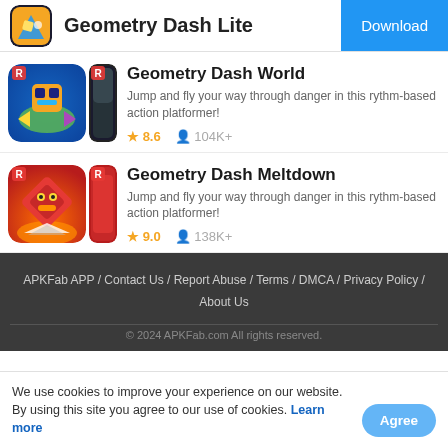Geometry Dash Lite | Download
Geometry Dash World
Jump and fly your way through danger in this rythm-based action platformer!
8.6  104K+
Geometry Dash Meltdown
Jump and fly your way through danger in this rythm-based action platformer!
9.0  138K+
APKFab APP / Contact Us / Report Abuse / Terms / DMCA / Privacy Policy / About Us
We use cookies to improve your experience on our website. By using this site you agree to our use of cookies. Learn more